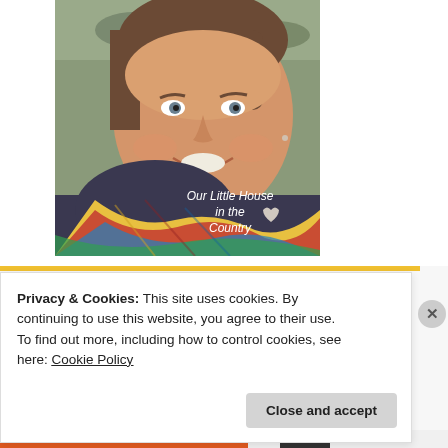[Figure (photo): A smiling woman wearing a colorful plaid scarf outdoors, with text overlay reading 'Our Little House in the Country' with a heart icon.]
Privacy & Cookies: This site uses cookies. By continuing to use this website, you agree to their use.
To find out more, including how to control cookies, see here: Cookie Policy
Close and accept